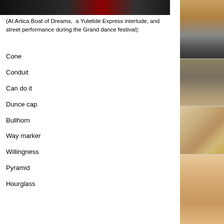[Figure (photo): Dark photo showing people at a performance, including a person in red]
(At Artica Boat of Dreams,  a Yuletide Express interlude, and street performance during the Grand dance festival):
Cone
Conduit
Can do it
Dunce cap
Bullhorn
Way marker
Willingness
Pyramid
Hourglass
[Figure (photo): Outdoor scene with brick wall and parked car]
[Figure (photo): A bicycle wheel and frame detail]
[Figure (photo): Sandy outdoor surface with small objects scattered]